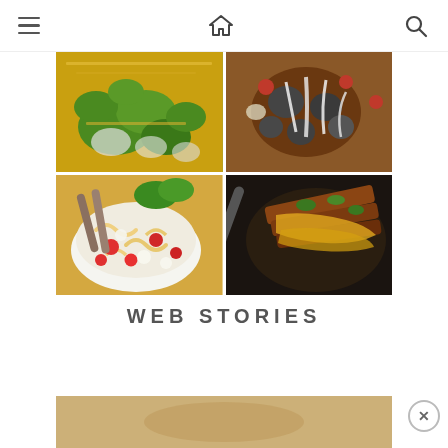Navigation bar with hamburger menu, home icon, and search icon
[Figure (photo): 2x2 grid of food photos: top-left shows a broccoli and cauliflower cheesy bake, top-right shows a pizza or meatball dish with melted mozzarella, bottom-left shows a pasta salad with tomatoes and mozzarella, bottom-right shows a cheesy meat skillet with garnish]
WEB STORIES
[Figure (photo): Partial thumbnail of a web story at the bottom of the page]
[Figure (other): Close/dismiss button (X) at bottom right]